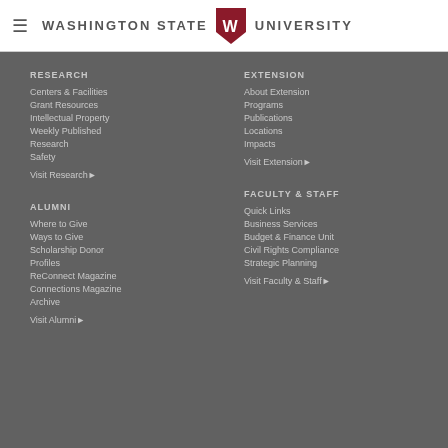Washington State University
RESEARCH
Centers & Facilities
Grant Resources
Intellectual Property
Weekly Published Research
Safety
Visit Research ▶
EXTENSION
About Extension
Programs
Publications
Locations
Impacts
Visit Extension ▶
ALUMNI
Where to Give
Ways to Give
Scholarship Donor Profiles
ReConnect Magazine
Connections Magazine Archive
Visit Alumni ▶
FACULTY & STAFF
Quick Links
Business Services
Budget & Finance Unit
Civil Rights Compliance
Strategic Planning
Visit Faculty & Staff ▶